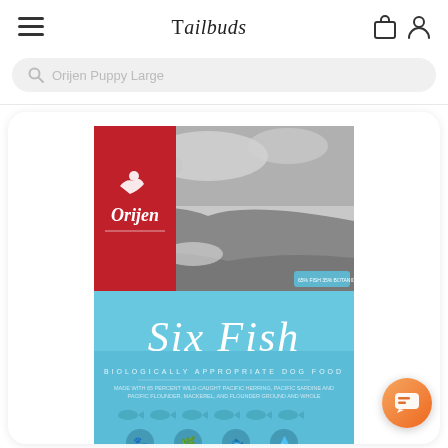Tailbuds
Orijen Puppy Large
[Figure (photo): Orijen Six Fish dog food bag product image showing a scenic black and white coastal landscape on upper portion with a red Orijen logo banner on left, and a light blue lower portion with 'Six Fish' text in cursive, along with fish illustrations and nutritional icons at the bottom.]